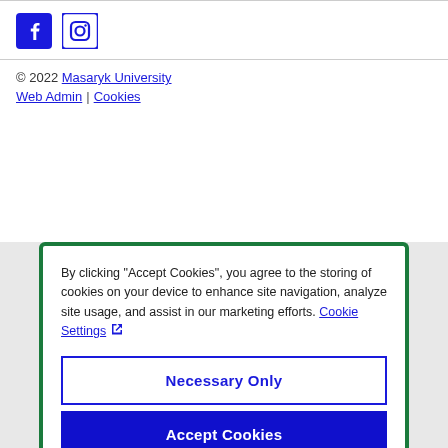[Figure (illustration): Facebook and Instagram social media icons in blue]
© 2022 Masaryk University
Web Admin | Cookies
By clicking "Accept Cookies", you agree to the storing of cookies on your device to enhance site navigation, analyze site usage, and assist in our marketing efforts. Cookie Settings ↗
Necessary Only
Accept Cookies